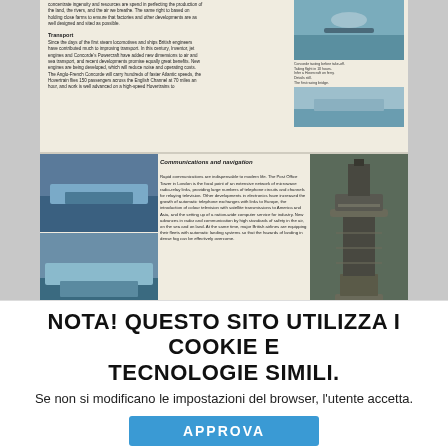[Figure (photo): Top portion of a British government/educational booklet page showing 'Transport' section with text and photographs of water/coastline scenes]
Transport section text describing British innovation in locomotives, ships, aircraft including Concorde and Hovercraft crossing the English Channel
[Figure (photo): Bottom portion of booklet page showing 'Communications and navigation' section with photos of a hovercraft/ferry, the Post Office Tower in London, a suspension bridge, and a large ship]
Communications and navigation
Rapid communications are indispensable to modern life. The Post Office Tower in London is the focal point of an extensive network of microwave radio-relay links, providing large numbers of telephone circuits and channels for relaying television. Other developments in electronics have increased the growth of automatic telephone exchanges with links to Europe, the introduction of colour television with satellite transmissions to America and Asia, and the setting up of a nation-wide computer service for industry. New advances in radar and communication by high standards of safety in the air, on the sea and on land. At the same time, major British airlines are equipping their fleets with automatic landing systems so that the hazards of landing in dense fog can be effectively overcome.
NOTA! QUESTO SITO UTILIZZA I COOKIE E TECNOLOGIE SIMILI.
Se non si modificano le impostazioni del browser, l'utente accetta.